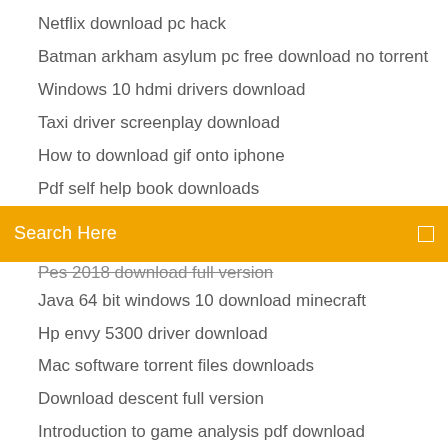Netflix download pc hack
Batman arkham asylum pc free download no torrent
Windows 10 hdmi drivers download
Taxi driver screenplay download
How to download gif onto iphone
Pdf self help book downloads
[Figure (screenshot): Orange search bar with text 'Search Here' and a small square icon on the right]
Pes 2018 download full version
Java 64 bit windows 10 download minecraft
Hp envy 5300 driver download
Mac software torrent files downloads
Download descent full version
Introduction to game analysis pdf download
Asus touchpad driver windows 10 download
Brazzer free downloads mp4 threeway sex
Gta chinatown download apk
Download samsung s7 drivers
Erase history of downloading app